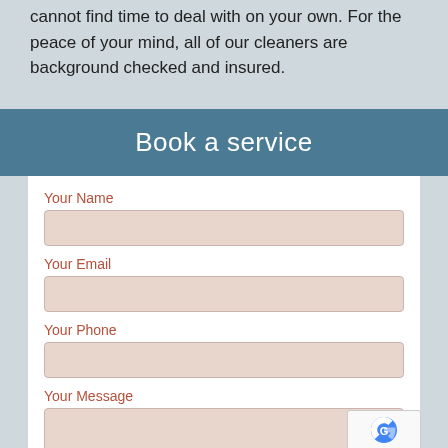cannot find time to deal with on your own. For the peace of your mind, all of our cleaners are background checked and insured.
Book a service
Your Name
Your Email
Your Phone
Your Message